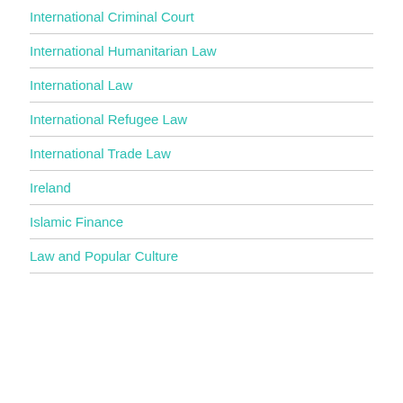International Criminal Court
International Humanitarian Law
International Law
International Refugee Law
International Trade Law
Ireland
Islamic Finance
Law and Popular Culture